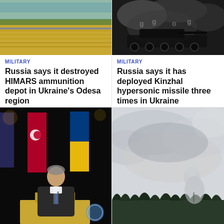[Figure (photo): Wheat field with golden crops, outdoor daylight]
MILITARY
Russia says it destroyed HIMARS ammunition depot in Ukraine's Odesa region
[Figure (photo): Military tank seen through smoke with indistinct markings]
MILITARY
Russia says it has deployed Kinzhal hypersonic missile three times in Ukraine
[Figure (photo): Man in suit speaking at podium with Turkish, Ukrainian and UN flags behind him]
[Figure (photo): Cloudy sky over trees, possibly showing smoke or explosion plume in distance]